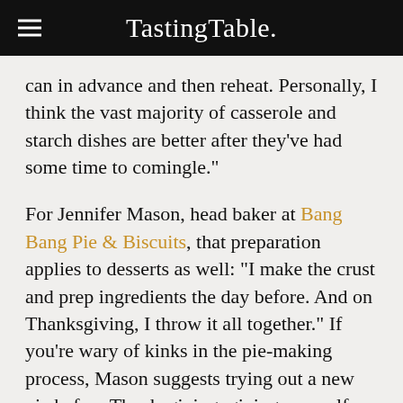Tasting Table.
can in advance and then reheat. Personally, I think the vast majority of casserole and starch dishes are better after they've had some time to comingle."
For Jennifer Mason, head baker at Bang Bang Pie & Biscuits, that preparation applies to desserts as well: "I make the crust and prep ingredients the day before. And on Thanksgiving, I throw it all together." If you're wary of kinks in the pie-making process, Mason suggests trying out a new pie before Thanksgiving, giving yourself a chance to make